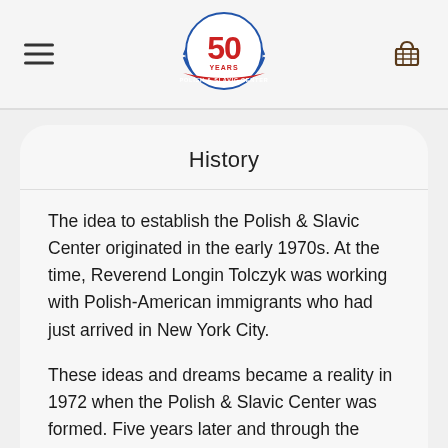Polish & Slavic Center — 50 Years logo header
History
The idea to establish the Polish & Slavic Center originated in the early 1970s. At the time, Reverend Longin Tolczyk was working with Polish-American immigrants who had just arrived in New York City.
These ideas and dreams became a reality in 1972 when the Polish & Slavic Center was formed. Five years later and through the Polish & Slavic Center, Rev. Longin Tolczyk formed the Polish & Slavic Federal Credit